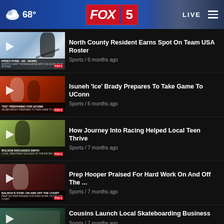68° FOX 5 LIVE
North County Resident Earns Spot On Team USA Roster
Sports / 6 months ago
Isuneh 'Ice' Brady Prepares To Take Game To UConn
Sports / 6 months ago
How Journey Into Racing Helped Local Teen Thrive
Sports / 7 months ago
Prep Hooper Praised For Hard Work On And Off The ...
Sports / 7 months ago
Cousins Launch Local Skateboarding Business
Sports / 7 months ago